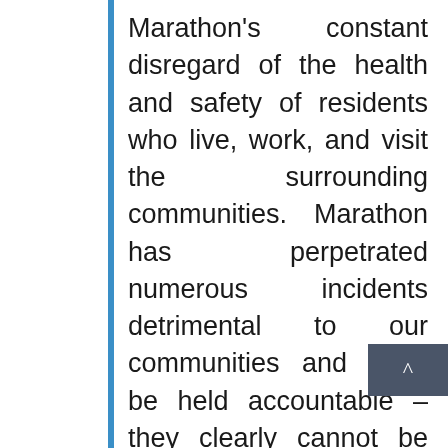Marathon's constant disregard of the health and safety of residents who live, work, and visit the surrounding communities. Marathon has perpetrated numerous incidents detrimental to our communities and must be held accountable – they clearly cannot be trusted to protect our health. I look forward to discussing the need to hold Marathon and other entities who poison our